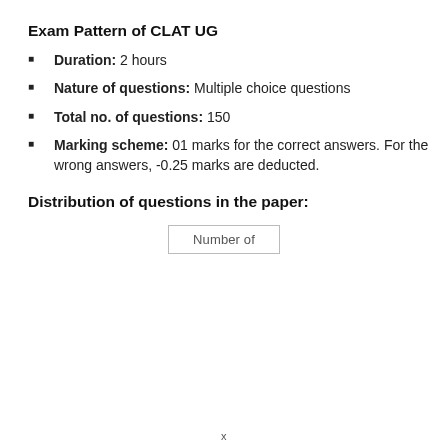Exam Pattern of CLAT UG
Duration: 2 hours
Nature of questions: Multiple choice questions
Total no. of questions: 150
Marking scheme: 01 marks for the correct answers. For the wrong answers, -0.25 marks are deducted.
Distribution of questions in the paper:
| Number of |
| --- |